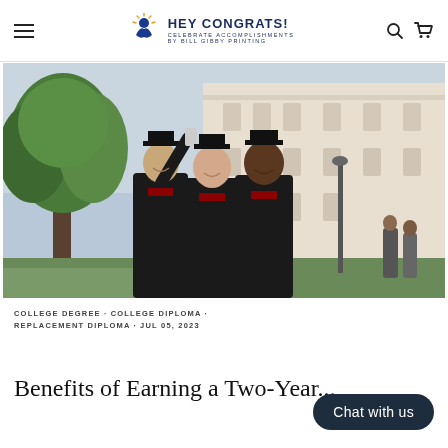HEY CONGRATS! CELEBRATE ACCOMPLISHMENTS BY BILL GIBBY PRINTING
[Figure (photo): Three university graduates in black caps and gowns taking a selfie outdoors in front of a large white classical building, with green trees visible. Two male graduates and one female graduate smiling.]
COLLEGE DEGREE · COLLEGE DIPLOMA · REPLACEMENT DIPLOMA · JUL 05, 2023
Benefits of Earning a Two-Year...